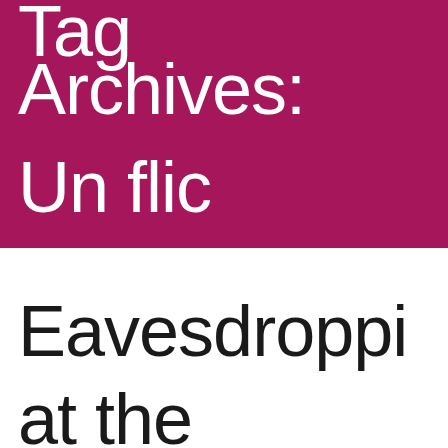Tag Archives: Un flic
Eavesdropping at the